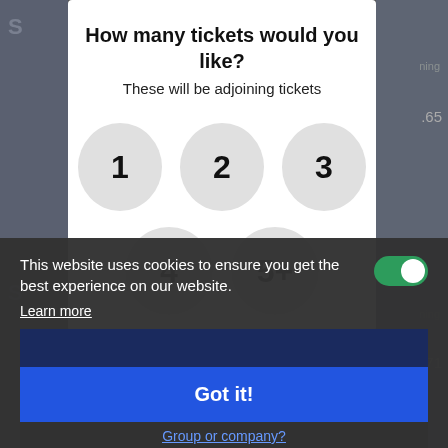How many tickets would you like?
These will be adjoining tickets
[Figure (screenshot): Ticket quantity selector modal with circular buttons labeled 1, 2, 3, 4, 5+]
This website uses cookies to ensure you get the best experience on our website.
Learn more
Got it!
Group or company?